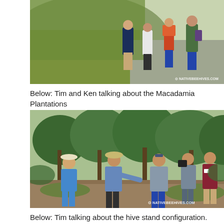[Figure (photo): Group of people walking along a path next to a grassy hill. Photo watermarked with NATIVEBEEHIVES.COM]
Below: Tim and Ken talking about the Macadamia Plantations
[Figure (photo): Group of people standing in a macadamia plantation with trees in the background. One person is gesturing and talking. Photo watermarked with NATIVEBEEHIVES.COM]
Below: Tim talking about the hive stand configuration. This stand can hold 12 hives and is protected from the weather by a large roof. There is a few of these hive stands scattered around